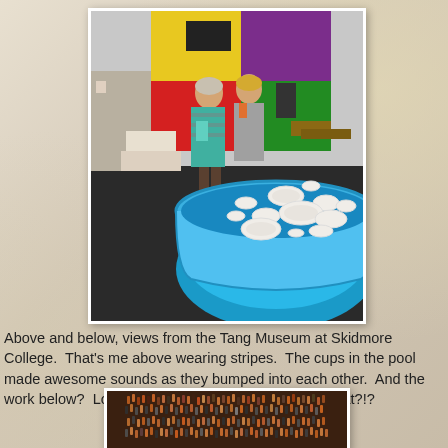[Figure (photo): Two women standing in an art museum gallery in front of a large colorful geometric painting. In the foreground is a blue inflatable kiddie pool containing many white ceramic bowls and cups floating in it.]
Above and below, views from the Tang Museum at Skidmore College.  That's me above wearing stripes.  The cups in the pool made awesome sounds as they bumped into each other.  And the work below?  Look at all those matches!  Cool, or what?!?
[Figure (photo): Close-up artwork made of matches arranged to form an image of a face or portrait, visible in orange, brown, and black tones.]